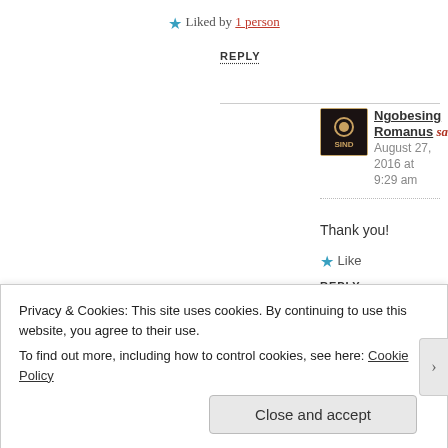★ Liked by 1 person
REPLY
Ngobesing Romanus said: August 27, 2016 at 9:29 am
Thank you!
★ Like
REPLY
euniceaformanor said: June 15, 2021 at 7:55 pm
Privacy & Cookies: This site uses cookies. By continuing to use this website, you agree to their use. To find out more, including how to control cookies, see here: Cookie Policy
Close and accept